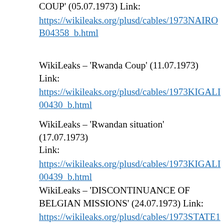COUP' (05.07.1973) Link: https://wikileaks.org/plusd/cables/1973NAIROBI04358_b.html
WikiLeaks – 'Rwanda Coup' (11.07.1973) Link: https://wikileaks.org/plusd/cables/1973KIGALI00430_b.html
WikiLeaks – 'Rwandan situation' (17.07.1973) Link: https://wikileaks.org/plusd/cables/1973KIGALI00439_b.html
WikiLeaks – 'DISCONTINUANCE OF BELGIAN MISSIONS' (24.07.1973) Link: https://wikileaks.org/plusd/cables/1973STATE1...